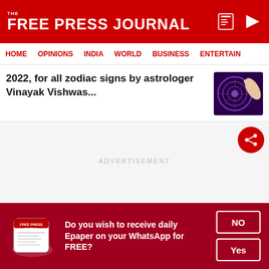THE FREE PRESS JOURNAL
HOME | OPINIONS | INDIA | WORLD | BUSINESS | ENTERTAIN
2022, for all zodiac signs by astrologer Vinayak Vishwas...
[Figure (photo): Zodiac signs wheel with glowing pointer illustration]
ADVERTISEMENT
[Figure (logo): Free Press Journal newspaper roll logo]
Do you wish to receive daily Epaper on your WhatsApp for FREE?